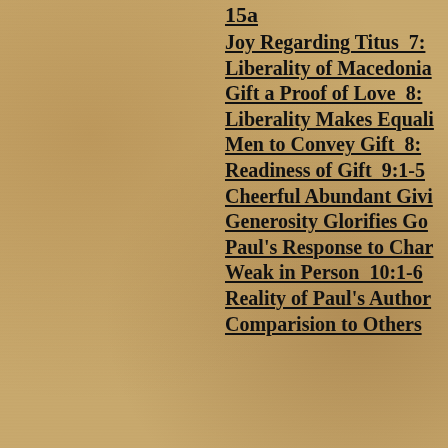15a
Joy Regarding Titus  7:
Liberality of Macedonia
Gift a Proof of Love  8:
Liberality Makes Equali
Men to Convey Gift  8:
Readiness of Gift  9:1-5
Cheerful Abundant Givi
Generosity Glorifies Go
Paul's Response to Char
Weak in Person  10:1-6
Reality of Paul's Author
Comparision to Others